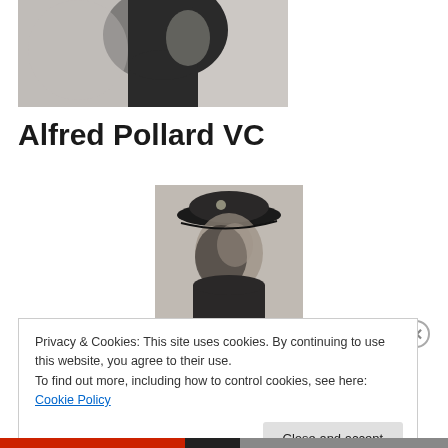[Figure (photo): Black and white silhouette/profile photo of a soldier, cropped showing head and upper shoulders against a light background]
Alfred Pollard VC
[Figure (photo): Black and white portrait photograph of Alfred Pollard in military uniform with peaked cap, shown in profile/three-quarter view]
Privacy & Cookies: This site uses cookies. By continuing to use this website, you agree to their use.
To find out more, including how to control cookies, see here: Cookie Policy
Close and accept